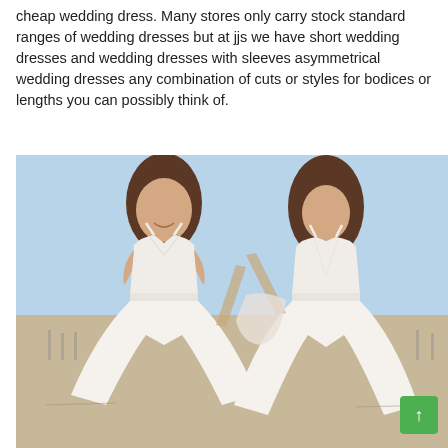cheap wedding dress. Many stores only carry stock standard ranges of wedding dresses but at jjs we have short wedding dresses and wedding dresses with sleeves asymmetrical wedding dresses any combination of cuts or styles for bodices or lengths you can possibly think of.
[Figure (photo): Two women wearing simple white spaghetti-strap wedding dresses, one showing the front view and one showing the back view, photographed outdoors at a beach setting with sand and light blue sky.]